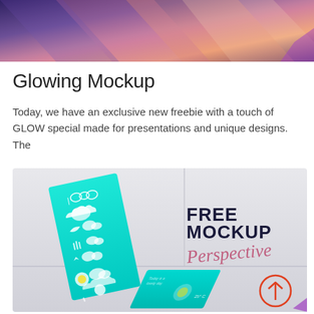[Figure (photo): Glowing abstract mockup hero image with purple, pink, and blue light effects on dark background]
Glowing Mockup
Today, we have an exclusive new freebie with a touch of GLOW special made for presentations and unique designs. The
[Figure (photo): Free Mockup Perspective — two teal/cyan booklets with white weather icons displayed in a 3D perspective room setting. Text on wall reads FREE MOCKUP Perspective. An upward arrow icon in orange circle appears at bottom right.]